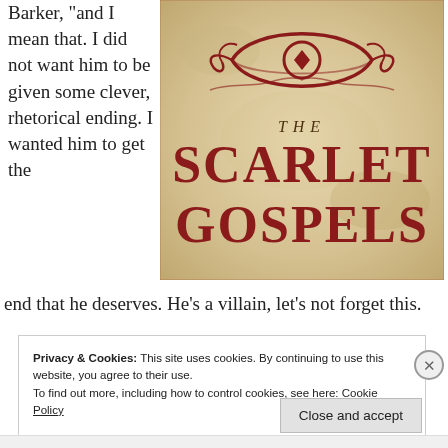Barker, “and I mean that. I did not want him to be given some clever, rhetorical ending. I wanted him to get the end that he deserves. He’s a villain, let’s not forget this.
[Figure (photo): Book cover of 'The Scarlet Gospels' with decorative red eye symbol and ornate red lettering on aged parchment background]
Privacy & Cookies: This site uses cookies. By continuing to use this website, you agree to their use.
To find out more, including how to control cookies, see here: Cookie Policy
Close and accept